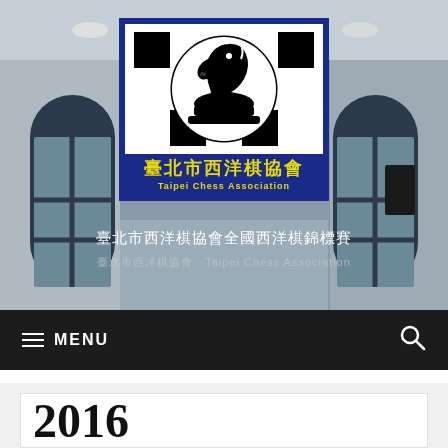[Figure (logo): Taipei Chess Association logo with chess knight piece on checkered background, blue border with Chinese text 臺北市西洋棋協會 and English text Taipei Chess Association in yellow]
臺北市西洋棋協會全國西洋棋錦標賽
臺北市西洋棋協會 Taipei Chess Association
≡ MENU
2016